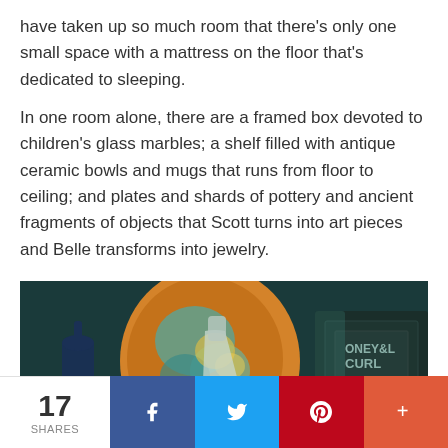have taken up so much room that there's only one small space with a mattress on the floor that's dedicated to sleeping.
In one room alone, there are a framed box devoted to children's glass marbles; a shelf filled with antique ceramic bowls and mugs that runs from floor to ceiling; and plates and shards of pottery and ancient fragments of objects that Scott turns into art pieces and Belle transforms into jewelry.
[Figure (photo): Collection of antique glass bottles and ceramic vessels arranged together, with colorful glazed pottery visible in the background and text reading 'ONEY & CURL' on a dark embossed container.]
17 SHARES | Facebook | Twitter | Pinterest | More